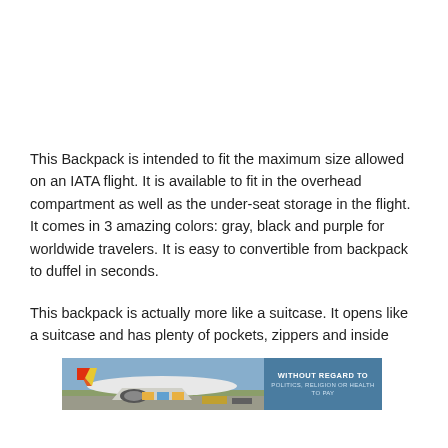This Backpack is intended to fit the maximum size allowed on an IATA flight. It is available to fit in the overhead compartment as well as the under-seat storage in the flight. It comes in 3 amazing colors: gray, black and purple for worldwide travelers. It is easy to convertible from backpack to duffel in seconds.
This backpack is actually more like a suitcase. It opens like a suitcase and has plenty of pockets, zippers and inside
[Figure (photo): Advertisement banner showing an airplane being loaded with cargo on a tarmac, with a blue overlay text panel on the right reading 'WITHOUT REGARD TO POLITICS, RELIGION OR WEALTH TO PAY']